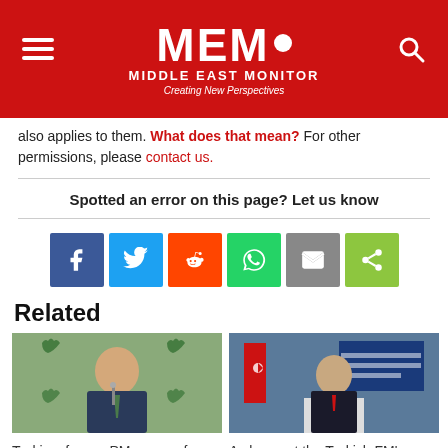MEMO MIDDLE EAST MONITOR Creating New Perspectives
also applies to them. What does that mean? For other permissions, please contact us.
Spotted an error on this page? Let us know
[Figure (infographic): Social share buttons: Facebook, Twitter, Reddit, WhatsApp, Email, Share]
Related
[Figure (photo): Turkiye former PM at podium with green tie and green leaf logos in background]
Turkiye: former PM warns of rapprochement with Syrian regime
[Figure (photo): Turkish FM at podium with Turkish flag in background at conference]
A glance at the Turkish FM's recent statement on Syria